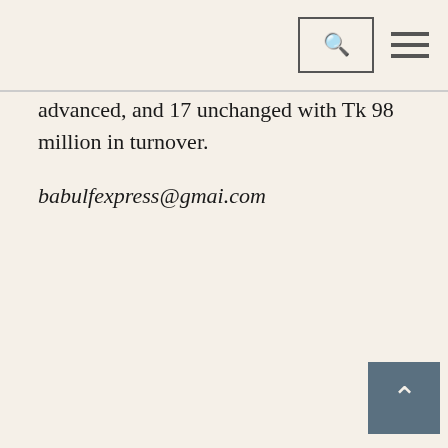[navigation bar with search and menu icons]
advanced, and 17 unchanged with Tk 98 million in turnover.
babulfexpress@gmai.com